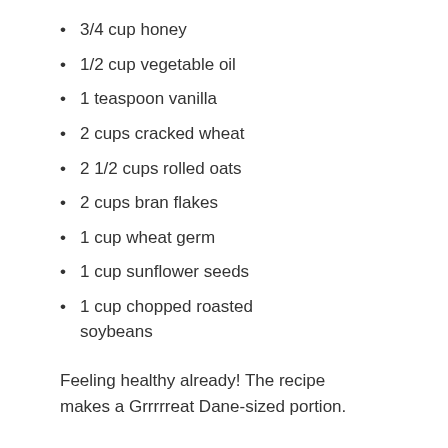3/4 cup honey
1/2 cup vegetable oil
1 teaspoon vanilla
2 cups cracked wheat
2 1/2 cups rolled oats
2 cups bran flakes
1 cup wheat germ
1 cup sunflower seeds
1 cup chopped roasted soybeans
Feeling healthy already! The recipe makes a Grrrrreat Dane-sized portion.